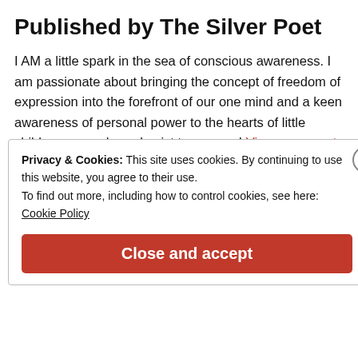Published by The Silver Poet
I AM a little spark in the sea of conscious awareness. I am passionate about bringing the concept of freedom of expression into the forefront of our one mind and a keen awareness of personal power to the hearts of little children everywhere. I exist to express! View more posts
Privacy & Cookies: This site uses cookies. By continuing to use this website, you agree to their use.
To find out more, including how to control cookies, see here:
Cookie Policy
Close and accept